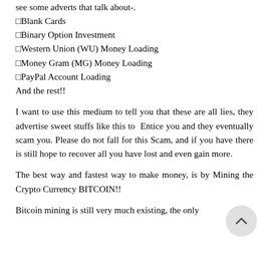see some adverts that talk about-.
⬜Blank Cards
⬜Binary Option Investment
⬜Western Union (WU) Money Loading
⬜Money Gram (MG) Money Loading
⬜PayPal Account Loading
And the rest!!
I want to use this medium to tell you that these are all lies, they advertise sweet stuffs like this to Entice you and they eventually scam you. Please do not fall for this Scam, and if you have there is still hope to recover all you have lost and even gain more.
The best way and fastest way to make money, is by Mining the Crypto Currency BITCOIN!!
Bitcoin mining is still very much existing, the only